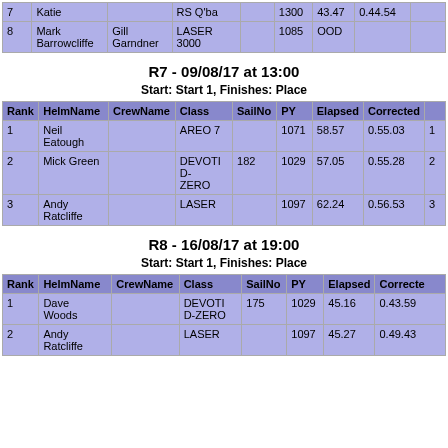| Rank | HelmName | CrewName | Class | SailNo | PY | Elapsed | Corrected |  |
| --- | --- | --- | --- | --- | --- | --- | --- | --- |
| 7 | Katie |  | RS Q'ba |  | 1300 | 43.47 | 0.44.54 |  |
| 8 | Mark Barrowcliffe | Gill Garndner | LASER 3000 |  | 1085 | OOD |  |  |
R7 - 09/08/17 at 13:00
Start: Start 1, Finishes: Place
| Rank | HelmName | CrewName | Class | SailNo | PY | Elapsed | Corrected |  |
| --- | --- | --- | --- | --- | --- | --- | --- | --- |
| 1 | Neil Eatough |  | AREO 7 |  | 1071 | 58.57 | 0.55.03 | 1 |
| 2 | Mick Green |  | DEVOTI D-ZERO | 182 | 1029 | 57.05 | 0.55.28 | 2 |
| 3 | Andy Ratcliffe |  | LASER |  | 1097 | 62.24 | 0.56.53 | 3 |
R8 - 16/08/17 at 19:00
Start: Start 1, Finishes: Place
| Rank | HelmName | CrewName | Class | SailNo | PY | Elapsed | Correcte |
| --- | --- | --- | --- | --- | --- | --- | --- |
| 1 | Dave Woods |  | DEVOTI D-ZERO | 175 | 1029 | 45.16 | 0.43.59 |
| 2 | Andy Ratcliffe |  | LASER |  | 1097 | 45.27 | 0.49.43 |